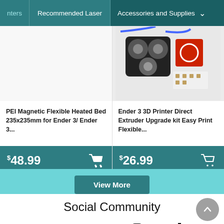nters | Recommended Laser | Accessories and Supplies
[Figure (photo): Product image area (white/empty) for PEI Magnetic Flexible Heated Bed]
PEI Magnetic Flexible Heated Bed 235x235mm for Ender 3/ Ender 3...
$48.99
[Figure (photo): Photo of Ender 3 3D Printer Direct Extruder Upgrade kit with wheels and red metal bracket]
Ender 3 3D Printer Direct Extruder Upgrade kit Easy Print Flexible...
$26.99
View More
Social Community
[Figure (infographic): Social media icons: Facebook, Messenger, VK, YouTube, Instagram, Twitter, Tumblr]
Enter Email to get 50 Points